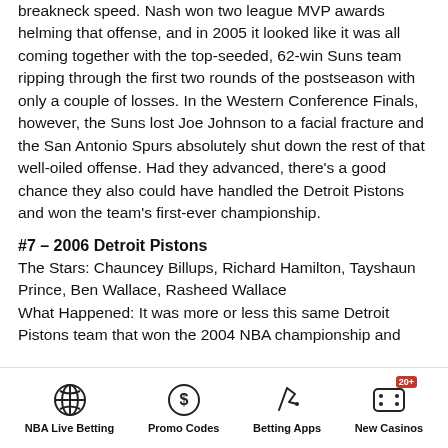breakneck speed. Nash won two league MVP awards helming that offense, and in 2005 it looked like it was all coming together with the top-seeded, 62-win Suns team ripping through the first two rounds of the postseason with only a couple of losses. In the Western Conference Finals, however, the Suns lost Joe Johnson to a facial fracture and the San Antonio Spurs absolutely shut down the rest of that well-oiled offense. Had they advanced, there's a good chance they also could have handled the Detroit Pistons and won the team's first-ever championship.
#7 – 2006 Detroit Pistons
The Stars: Chauncey Billups, Richard Hamilton, Tayshaun Prince, Ben Wallace, Rasheed Wallace
What Happened: It was more or less this same Detroit Pistons team that won the 2004 NBA championship and...
NBA Live Betting | Promo Codes | Betting Apps | New Casinos